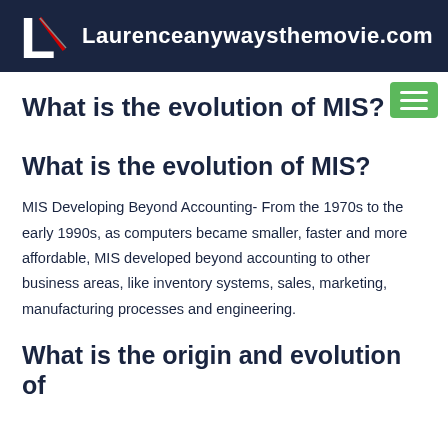Laurenceanywaysthemovie.com
What is the evolution of MIS?
What is the evolution of MIS?
MIS Developing Beyond Accounting- From the 1970s to the early 1990s, as computers became smaller, faster and more affordable, MIS developed beyond accounting to other business areas, like inventory systems, sales, marketing, manufacturing processes and engineering.
What is the origin and evolution of